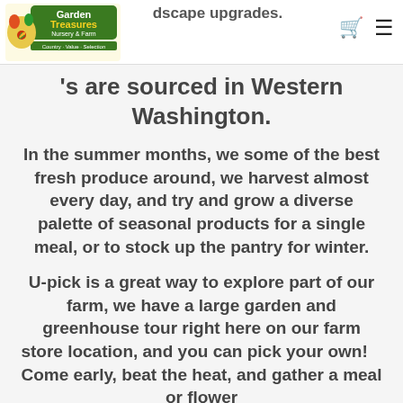Garden Treasures Nursery & Farm [logo] [cart icon] [menu icon]
Nursery and garden center stocked for landscape upgrades. All plants are sourced in Western Washington.
In the summer months, we some of the best fresh produce around, we harvest almost every day, and try and grow a diverse palette of seasonal products for a single meal, or to stock up the pantry for winter.
U-pick is a great way to explore part of our farm, we have a large garden and greenhouse tour right here on our farm store location, and you can pick your own!   Come early, beat the heat, and gather a meal or flower